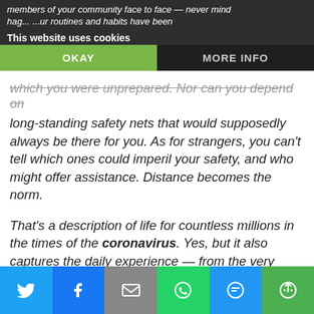This website uses cookies
which you were unprepared. Nor can you depend on long-standing safety nets that would supposedly always be there for you. As for strangers, you can't tell which ones could imperil your safety, and who might offer assistance. Distance becomes the norm.
That's a description of life for countless millions in the times of the coronavirus. Yes, but it also captures the daily experience — from the very beginning of history — of vast numbers of exiles and migrants as they discover how to survive a journey into the unknown.
Did you see what Dorfman did there? He took our